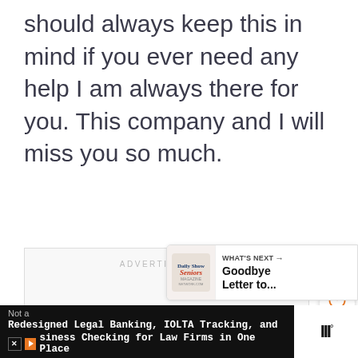should always keep this in mind if you ever need any help I am always there for you. This company and I will miss you so much.
[Figure (other): Advertisement placeholder box with 'ADVERTISEMENT' label and three navigation dots at bottom]
[Figure (other): Heart/like button (white circle with heart outline icon)]
[Figure (other): Share button (orange circle with share icon) showing count of 7]
[Figure (other): What's Next banner showing 'Goodbye Letter to...' with Seniors magazine logo]
[Figure (other): Bottom advertisement bar: 'Not a' / 'Redesigned Legal Banking, IOLTA Tracking, and Business Checking for Law Firms in One Place' with Monarch/III logo]